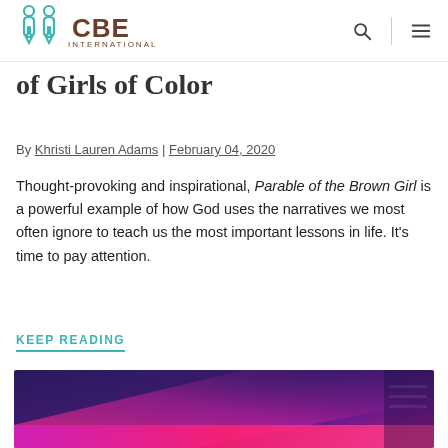CBE International
of Girls of Color
By Khristi Lauren Adams | February 04, 2020
Thought-provoking and inspirational, Parable of the Brown Girl is a powerful example of how God uses the narratives we most often ignore to teach us the most important lessons in life. It’s time to pay attention.
KEEP READING
[Figure (photo): Abstract gradient image with purple, pink and magenta color tones blending diagonally]